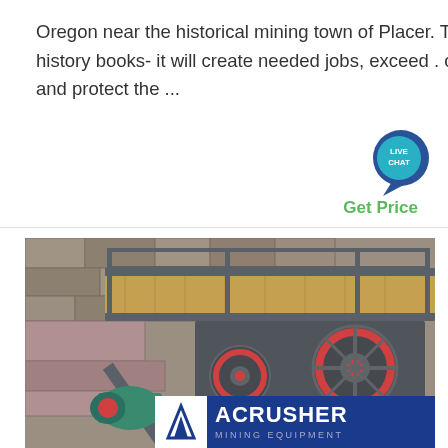Oregon near the historical mining town of Placer. This is not at all the kind of mine site we see in the history books- it will create needed jobs, exceed . county, state and federal oversight requirements, and protect the ...
Get Price
[Figure (photo): Industrial jaw crusher machine with steel frame, wooden platform, large flywheel with red rim, and electric motor, set against a stone wall background. ACRUSHER MINING EQUIPMENT logo visible at bottom.]